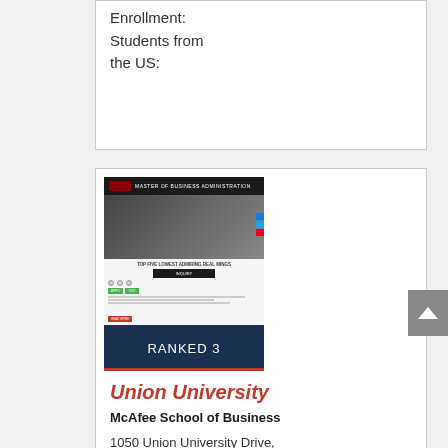Enrollment:
Students from
the US:
[Figure (screenshot): Screenshot of Union University Master of Business Administration website page with hero image of students in a classroom, navigation bar, and enrollment/apply section]
RANKED 3
Union University
McAfee School of Business
1050 Union University Drive,